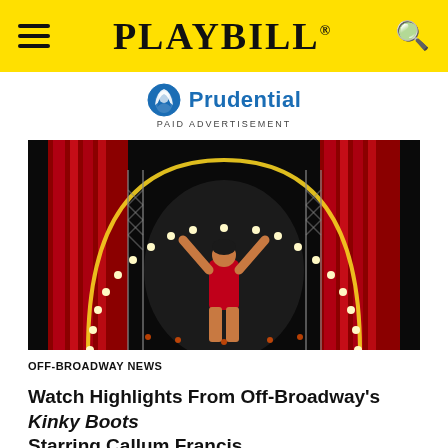PLAYBILL
[Figure (logo): Prudential logo with blue rock/shield icon and blue text reading 'Prudential']
PAID ADVERTISEMENT
[Figure (photo): A performer in a red sequined dress with arms raised triumphantly on stage in front of red sparkling curtains and a large arch of lights, from Off-Broadway production of Kinky Boots]
OFF-BROADWAY NEWS
Watch Highlights From Off-Broadway's Kinky Boots Starring Callum Francis